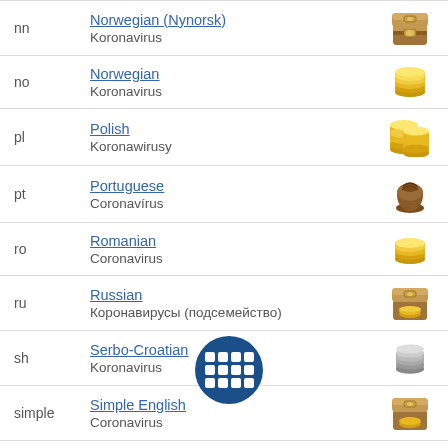nn | Norwegian (Nynorsk) | Koronavirus
no | Norwegian | Koronavirus
pl | Polish | Koronawirusy
pt | Portuguese | Coronavírus
ro | Romanian | Coronavirus
ru | Russian | Коронавирусы (подсемейство)
sh | Serbo-Croatian | Koronavirus
simple | Simple English | Coronavirus
sl | Slovenian